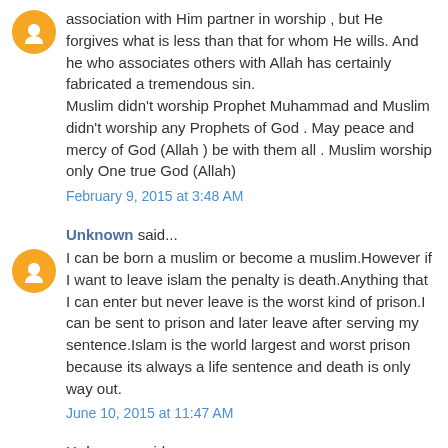association with Him partner in worship , but He forgives what is less than that for whom He wills. And he who associates others with Allah has certainly fabricated a tremendous sin.
Muslim didn't worship Prophet Muhammad and Muslim didn't worship any Prophets of God . May peace and mercy of God (Allah ) be with them all . Muslim worship only One true God (Allah)
February 9, 2015 at 3:48 AM
Unknown said...
I can be born a muslim or become a muslim.However if I want to leave islam the penalty is death.Anything that I can enter but never leave is the worst kind of prison.I can be sent to prison and later leave after serving my sentence.Islam is the world largest and worst prison because its always a life sentence and death is only way out.
June 10, 2015 at 11:47 AM
Unknown said...